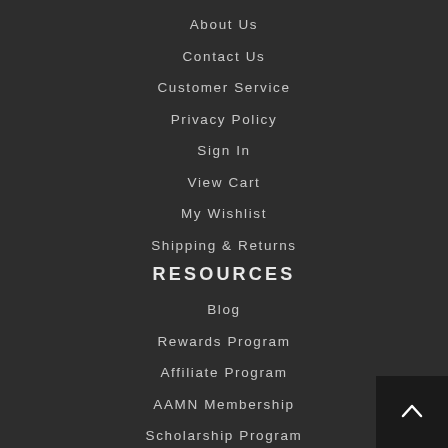About Us
Contact Us
Customer Service
Privacy Policy
Sign In
View Cart
My Wishlist
Shipping & Returns
RESOURCES
Blog
Rewards Program
Affiliate Program
AAMN Membership
Scholarship Program
#MurseLife